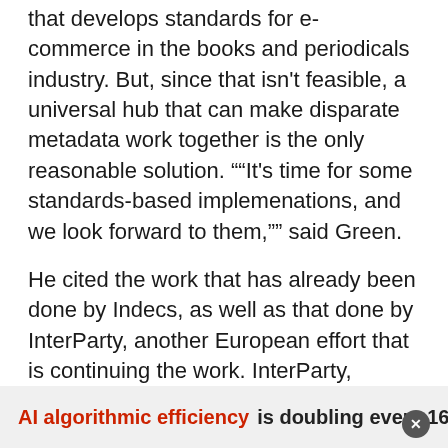that develops standards for e-commerce in the books and periodicals industry. But, since that isn't feasible, a universal hub that can make disparate metadata work together is the only reasonable solution. ""It's time for some standards-based implemenations, and we look forward to them,"" said Green.
He cited the work that has already been done by Indecs, as well as that done by InterParty, another European effort that is continuing the work. InterParty, however, is focused on building a nomenclature for corporations and individuals to make it easier to recognize them in contracts involving intellectual property and digital rights.
AI algorithmic efficiency is doubling every 16 months